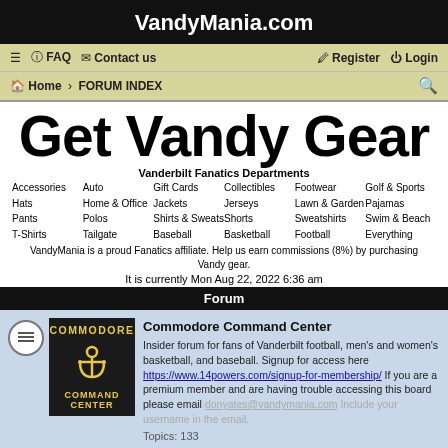VandyMania.com
≡ FAQ Contact us Register Login
Home › FORUM INDEX
Get Vandy Gear
Vanderbilt Fanatics Departments
Accessories Auto Gift Cards Collectibles Footwear Golf & Sports Hats Home & Office Jackets Jerseys Lawn & Garden Pajamas Pants Polos Shirts & Sweats Shorts Sweatshirts Swim & Beach T-Shirts Tailgate Baseball Basketball Football Everything
VandyMania is a proud Fanatics affiliate. Help us earn commissions (8%) by purchasing Vandy gear.
It is currently Mon Aug 22, 2022 6:36 am
Forum
Commodore Command Center
Insider forum for fans of Vanderbilt football, men's and women's basketball, and baseball. Signup for access here https://www.14powers.com/signup-for-membership/ If you are a premium member and are having trouble accessing this board please email donyates@vandymania.com Include your username in the email.
Topics: 133